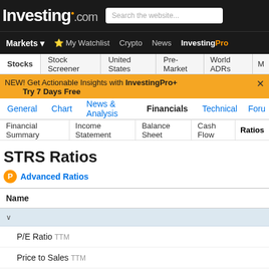Investing.com — Search the website... | Markets | My Watchlist | Crypto | News | InvestingPro
Stocks | Stock Screener | United States | Pre-Market | World ADRs
NEW! Get Actionable Insights with InvestingPro+ Try 7 Days Free
General | Chart | News & Analysis | Financials | Technical | For
Financial Summary | Income Statement | Balance Sheet | Cash Flow | Ratios
STRS Ratios
Advanced Ratios
| Name |
| --- |
| P/E Ratio TTM |
| Price to Sales TTM |
| Price to Cash Flow MRQ |
| Price to Free... |
| Price to Boo... |
STRS Comments